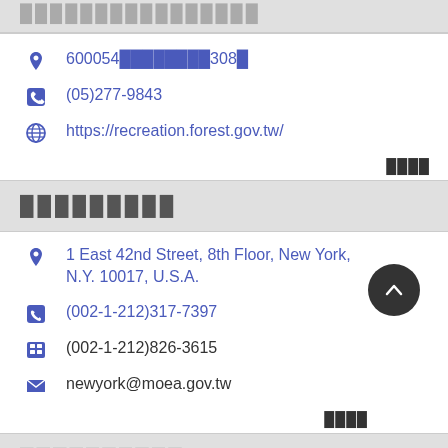████████████████
600054████████308█
(05)277-9843
https://recreation.forest.gov.tw/
████
█████████
1 East 42nd Street, 8th Floor, New York, N.Y. 10017, U.S.A.
(002-1-212)317-7397
(002-1-212)826-3615
newyork@moea.gov.tw
████
██████████
605001███████████████59█